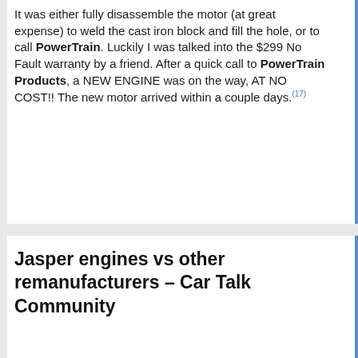It was either fully disassemble the motor (at great expense) to weld the cast iron block and fill the hole, or to call PowerTrain. Luckily I was talked into the $299 No Fault warranty by a friend. After a quick call to PowerTrain Products, a NEW ENGINE was on the way, AT NO COST!! The new motor arrived within a couple days.(17)
Jasper engines vs other remanufacturers – Car Talk Community